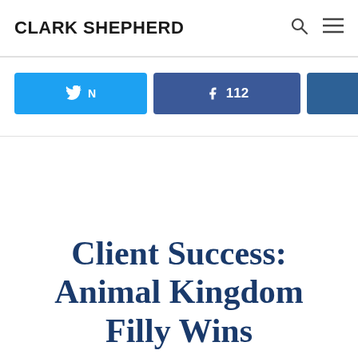CLARK SHEPHERD
...was once again confronted with closing from the back [...]
N  k 112  s in  < 112 SHARES
Client Success: Animal Kingdom Filly Wins